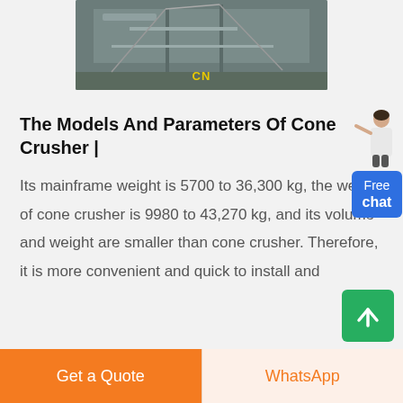[Figure (photo): Aerial or overhead view of a cone crusher / industrial machinery installation outdoors with the label CN in yellow]
The Models And Parameters Of Cone Crusher |
Its mainframe weight is 5700 to 36,300 kg, the weight of cone crusher is 9980 to 43,270 kg, and its volume and weight are smaller than cone crusher. Therefore, it is more convenient and quick to install and
[Figure (illustration): Customer service representative figure (person in white outfit) pointing upward, with a blue Free chat button]
[Figure (other): Green scroll-to-top button with white upward arrow]
Get a Quote
WhatsApp